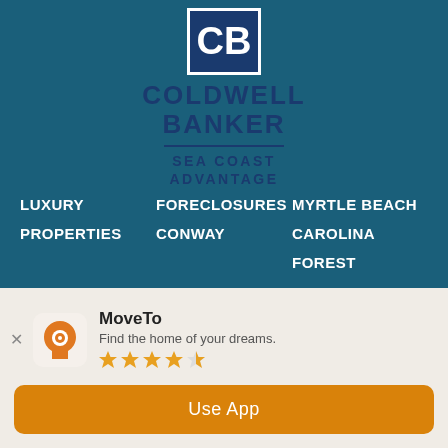[Figure (logo): Coldwell Banker Sea Coast Advantage logo with dark blue CB icon and text]
LUXURY
PROPERTIES
FORECLOSURES
CONWAY
MYRTLE BEACH
CAROLINA
FOREST
GARDEN CITY
LITTLE RIVER
MURRELLS INLET
MoveTo - Find the home of your dreams. (Rating: 3.5/5 stars) Use App